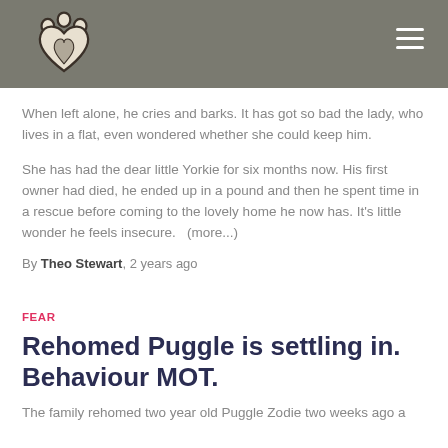When left alone, he cries and barks. It has got so bad the lady, who lives in a flat, even wondered whether she could keep him.
She has had the dear little Yorkie for six months now. His first owner had died, he ended up in a pound and then he spent time in a rescue before coming to the lovely home he now has. It's little wonder he feels insecure.   (more...)
By Theo Stewart, 2 years ago
FEAR
Rehomed Puggle is settling in. Behaviour MOT.
The family rehomed two year old Puggle Zodie two weeks ago a